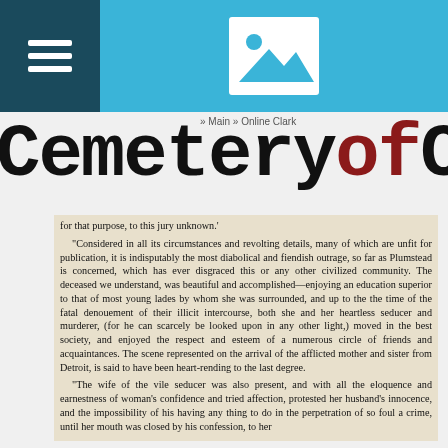[Figure (screenshot): Website header bar with dark teal hamburger menu box on left, light blue background, and a white image placeholder icon (mountain/landscape icon) in center]
CemeteryofCh
for that purpose, to this jury unknown.'
"Considered in all its circumstances and revolting details, many of which are unfit for publication, it is indisputably the most diabolical and fiendish outrage, so far as Plumstead is concerned, which has ever disgraced this or any other civilized community. The deceased we understand, was beautiful and accomplished—enjoying an education superior to that of most young lades by whom she was surrounded, and up to the the time of the fatal denouement of their illicit intercourse, both she and her heartless seducer and murderer, (for he can scarcely be looked upon in any other light,) moved in the best society, and enjoyed the respect and esteem of a numerous circle of friends and acquaintances. The scene represented on the arrival of the afflicted mother and sister from Detroit, is said to have been heart-rending to the last degree.
"The wife of the vile seducer was also present, and with all the eloquence and earnestness of woman's confidence and tried affection, protested her husband's innocence, and the impossibility of his having any thing to do in the perpetration of so foul a crime, until her mouth was closed by his confession, to her